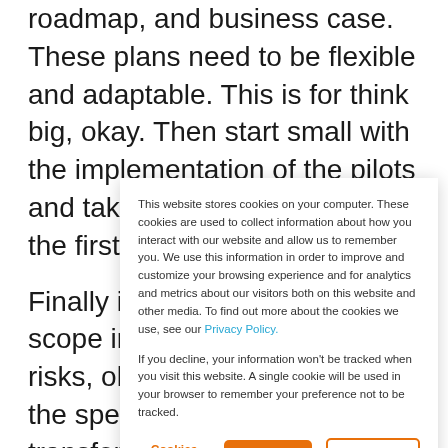roadmap, and business case. These plans need to be flexible and adaptable. This is for think big, okay. Then start small with the implementation of the pilots and take the time to learn from the first experiences.
Finally implement the broader scope in stages to manage the risks, okay. Gradually increase the speed and scale of the transformation. I'll show
This website stores cookies on your computer. These cookies are used to collect information about how you interact with our website and allow us to remember you. We use this information in order to improve and customize your browsing experience and for analytics and metrics about our visitors both on this website and other media. To find out more about the cookies we use, see our Privacy Policy.

If you decline, your information won't be tracked when you visit this website. A single cookie will be used in your browser to remember your preference not to be tracked.